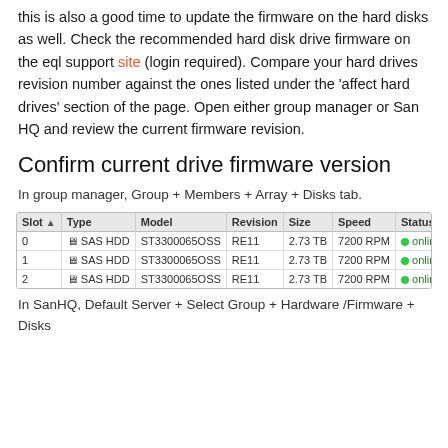this is also a good time to update the firmware on the hard disks as well. Check the recommended hard disk drive firmware on the eql support site (login required). Compare your hard drives revision number against the ones listed under the 'affect hard drives' section of the page. Open either group manager or San HQ and review the current firmware revision.
Confirm current drive firmware version
In group manager, Group + Members + Array + Disks tab.
| Slot | Type | Model | Revision | Size | Speed | Status |
| --- | --- | --- | --- | --- | --- | --- |
| 0 | SAS HDD | ST3300065OSS | RE11 | 2.73 TB | 7200 RPM | ● online |
| 1 | SAS HDD | ST3300065OSS | RE11 | 2.73 TB | 7200 RPM | ● online |
| 2 | SAS HDD | ST3300065OSS | RE11 | 2.73 TB | 7200 RPM | ● online |
In SanHQ, Default Server + Select Group + Hardware /Firmware + Disks